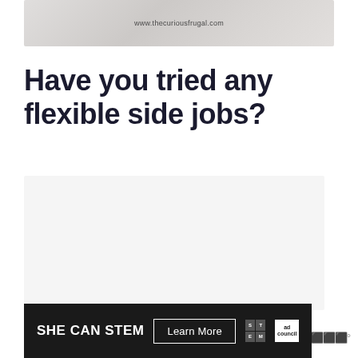[Figure (photo): Top banner image with light gray/beige texture and website URL www.thecuriousfrugal.com centered on it]
Have you tried any flexible side jobs?
[Figure (other): Light gray advertisement placeholder area]
[Figure (other): SHE CAN STEM advertisement banner with dark background, Learn More button, STEM grid logo, and Ad Council logo]